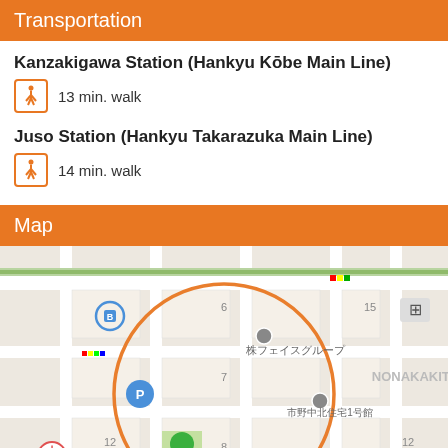Transportation
Kanzakigawa Station (Hankyu Kōbe Main Line)
13 min. walk
Juso Station (Hankyu Takarazuka Main Line)
14 min. walk
Map
[Figure (map): Street map showing the area around a location in Nonakakita, Osaka. An orange circle highlights the location. Nearby landmarks include Osaka City Juso Hospital (marked with a red cross), 野中北 park (green tree icon), parking areas (marked P), 株フェイスグループ, and 市野中北住宅1号館. Street numbers 3, 6, 7, 8, 12, 15 are visible. NONAKAKITA label appears on the right side.]